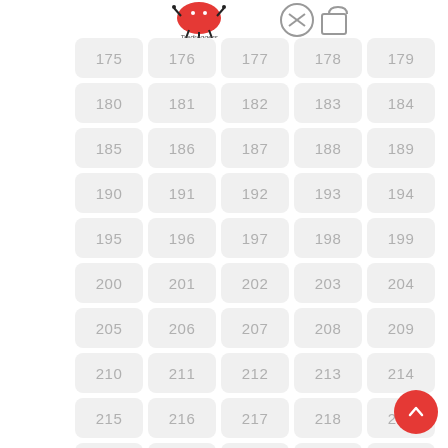[Figure (logo): Website header with Tredreggers logo (red drum graphic with text), a circular icon, and a shopping bag icon]
| 175 | 176 | 177 | 178 | 179 |
| 180 | 181 | 182 | 183 | 184 |
| 185 | 186 | 187 | 188 | 189 |
| 190 | 191 | 192 | 193 | 194 |
| 195 | 196 | 197 | 198 | 199 |
| 200 | 201 | 202 | 203 | 204 |
| 205 | 206 | 207 | 208 | 209 |
| 210 | 211 | 212 | 213 | 214 |
| 215 | 216 | 217 | 218 | 219 |
| 220 | 221 | 222 | 223 | 224 |
[Figure (illustration): Red circular scroll-to-top button with upward arrow]